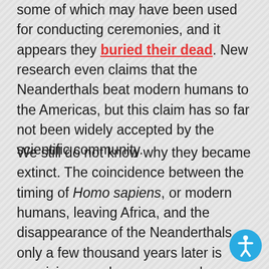some of which may have been used for conducting ceremonies, and it appears they buried their dead. New research even claims that the Neanderthals beat modern humans to the Americas, but this claim has so far not been widely accepted by the scientific community.
We still do not know why they became extinct. The coincidence between the timing of Homo sapiens, or modern humans, leaving Africa, and the disappearance of the Neanderthals only a few thousand years later is suspicious, and many researchers suggested that our ancestors killed their relatives causing their extinction. Today however, the common belief is that Homo sapiens may have supplanted the Neanderthals by